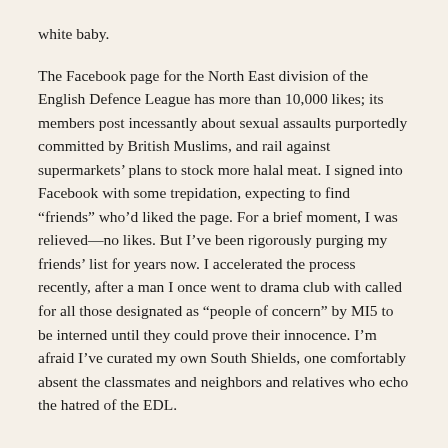white baby.
The Facebook page for the North East division of the English Defence League has more than 10,000 likes; its members post incessantly about sexual assaults purportedly committed by British Muslims, and rail against supermarkets’ plans to stock more halal meat. I signed into Facebook with some trepidation, expecting to find “friends” who’d liked the page. For a brief moment, I was relieved—no likes. But I’ve been rigorously purging my friends’ list for years now. I accelerated the process recently, after a man I once went to drama club with called for all those designated as “people of concern” by MI5 to be interned until they could prove their innocence. I’m afraid I’ve curated my own South Shields, one comfortably absent the classmates and neighbors and relatives who echo the hatred of the EDL.